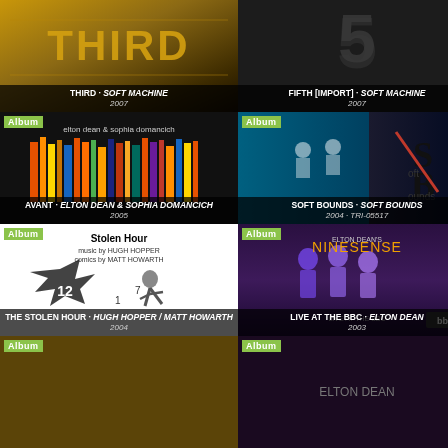[Figure (photo): Album cover for THIRD by Soft Machine - dark golden angular text design]
THIRD · SOFT MACHINE 2007
[Figure (photo): Album cover for FIFTH [IMPORT] by Soft Machine - large numeral 5 on dark background]
FIFTH [IMPORT] · SOFT MACHINE 2007
[Figure (photo): Album cover for NUMERO D'VOL by Hugh Hopper - person playing instrument]
NUMERO D'VOL · HUGH HOPPER 2007
[Figure (photo): Album cover for AVANT by Elton Dean & Sophia Domancich - colorful vertical bars]
AVANT · ELTON DEAN & SOPHIA DOMANCICH 2005
[Figure (photo): Album cover for SOFT BOUNDS by Soft Bounds - teal and black with dancers and SB logo]
SOFT BOUNDS · SOFT BOUNDS 2004 · TRI-05517
[Figure (photo): Album cover for THE UNBELIEVABLE TRUTH by Elton Dean & The Wrong Object - figure with mask]
THE UNBELIEVABLE TRUTH · ELTON DEAN & THE WRONG OBJECT 2006
[Figure (photo): Album cover for THE STOLEN HOUR by Hugh Hopper/Matt Howarth - black and white comic art]
THE STOLEN HOUR · HUGH HOPPER / MATT HOWARTH 2004
[Figure (photo): Album cover for LIVE AT THE BBC by Elton Dean - Elton Dean's Ninesense live at BBC]
LIVE AT THE BBC · ELTON DEAN 2003
[Figure (photo): Album cover for SEA OF INFINITY by Elton Dean - sunset/horizon landscape]
SEA OF INFINITY · ELTON DEAN 2004
[Figure (photo): Album cover for Elton Dean album - partial view at bottom]
ELTON DEAN